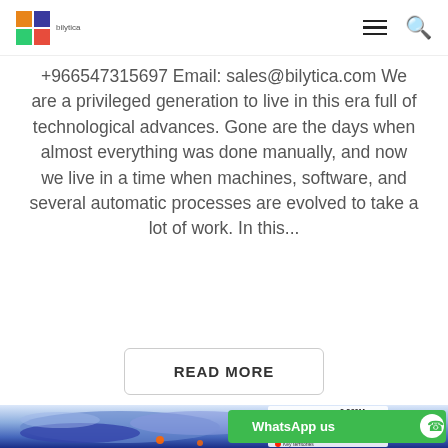Bilytica logo and navigation
+966547315697 Email: sales@bilytica.com We are a privileged generation to live in this era full of technological advances. Gone are the days when almost everything was done manually, and now we live in a time when machines, software, and several automatic processes are evolved to take a lot of work. In this...
READ MORE
[Figure (map): Geographic heat map showing regional data distribution with blue/purple color coding and data overlay panel showing 9.960M and cluster/distribution legend]